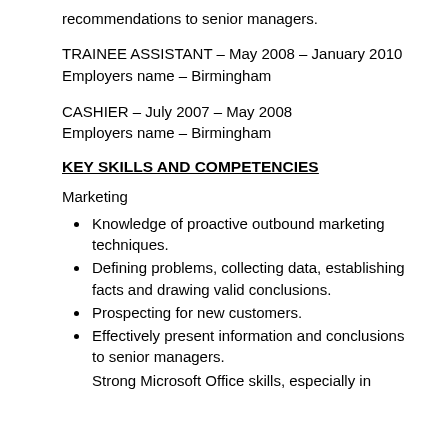recommendations to senior managers.
TRAINEE ASSISTANT – May 2008 – January 2010
Employers name – Birmingham
CASHIER – July 2007 – May 2008
Employers name – Birmingham
KEY SKILLS AND COMPETENCIES
Marketing
Knowledge of proactive outbound marketing techniques.
Defining problems, collecting data, establishing facts and drawing valid conclusions.
Prospecting for new customers.
Effectively present information and conclusions to senior managers.
Strong Microsoft Office skills, especially in...